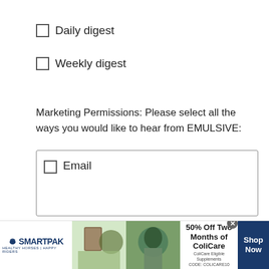Daily digest
Weekly digest
Marketing Permissions: Please select all the ways you would like to hear from EMULSIVE:
Email
Subscribe
[Figure (infographic): SmartPak advertisement banner: 50% Off Two Months of ColiCare. ColiCare Eligible Supplements. CODE: COLICARE10. Shop Now button.]